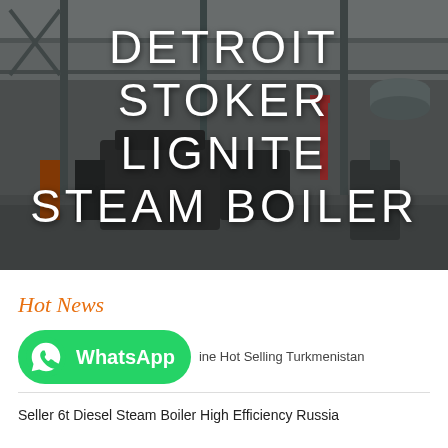[Figure (photo): Industrial boiler manufacturing facility interior, showing large industrial equipment, metal structures, cranes, and boilers in a factory setting. Dark overlay with white text overlay.]
DETROIT STOKER LIGNITE STEAM BOILER
Hot News
[Figure (logo): WhatsApp green button logo with phone icon and WhatsApp text]
ine Hot Selling Turkmenistan
Seller 6t Diesel Steam Boiler High Efficiency Russia